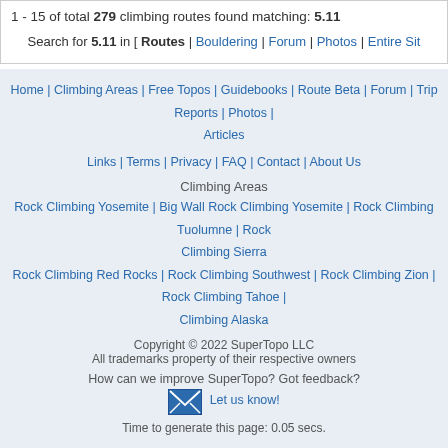1 - 15 of total 279 climbing routes found matching: 5.11
Search for 5.11 in [ Routes | Bouldering | Forum | Photos | Entire Site
Home | Climbing Areas | Free Topos | Guidebooks | Route Beta | Forum | Trip Reports | Photos | Articles | Links | Terms | Privacy | FAQ | Contact | About Us
Climbing Areas
Rock Climbing Yosemite | Big Wall Rock Climbing Yosemite | Rock Climbing Tuolumne | Rock Climbing Sierra | Rock Climbing Red Rocks | Rock Climbing Southwest | Rock Climbing Zion | Rock Climbing Tahoe | Climbing Alaska
Copyright © 2022 SuperTopo LLC
All trademarks property of their respective owners
How can we improve SuperTopo? Got feedback? Let us know!
Time to generate this page: 0.05 secs.
Climbing is dangerous. Climb at your own risk.